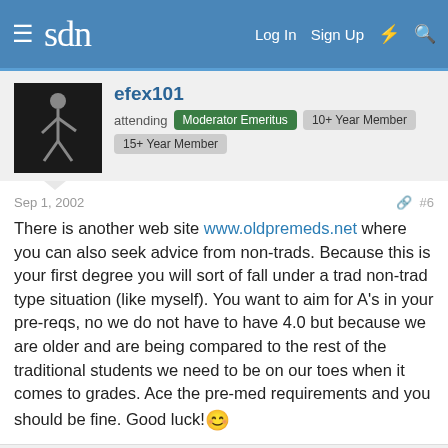sdn | Log In  Sign Up
efex101
attending  Moderator Emeritus  10+ Year Member
15+ Year Member
Sep 1, 2002  #6
There is another web site www.oldpremeds.net where you can also seek advice from non-trads. Because this is your first degree you will sort of fall under a trad non-trad type situation (like myself). You want to aim for A's in your pre-reqs, no we do not have to have 4.0 but because we are older and are being compared to the rest of the traditional students we need to be on our toes when it comes to grades. Ace the pre-med requirements and you should be fine. Good luck!
gower
1K Member  10+ Year Member  15+ Year Member